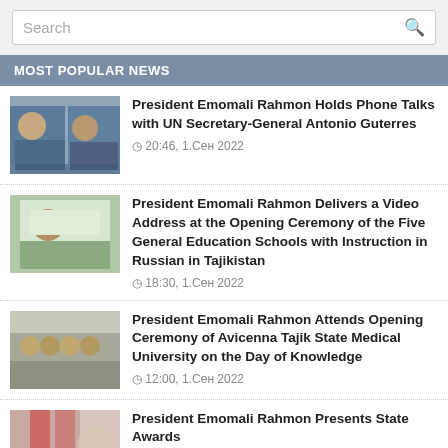Search
MOST POPULAR NEWS
President Emomali Rahmon Holds Phone Talks with UN Secretary-General Antonio Guterres
20:46, 1.Сен 2022
President Emomali Rahmon Delivers a Video Address at the Opening Ceremony of the Five General Education Schools with Instruction in Russian in Tajikistan
18:30, 1.Сен 2022
President Emomali Rahmon Attends Opening Ceremony of Avicenna Tajik State Medical University on the Day of Knowledge
12:00, 1.Сен 2022
President Emomali Rahmon Presents State Awards
14:43, 30.Авг 2022